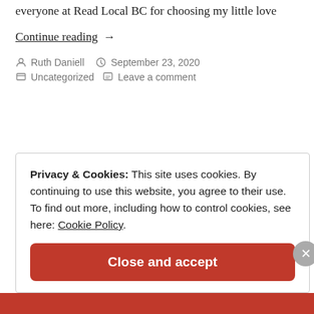everyone at Read Local BC for choosing my little love
Continue reading →
Ruth Daniell   September 23, 2020   Uncategorized   Leave a comment
Privacy & Cookies: This site uses cookies. By continuing to use this website, you agree to their use. To find out more, including how to control cookies, see here: Cookie Policy
Close and accept